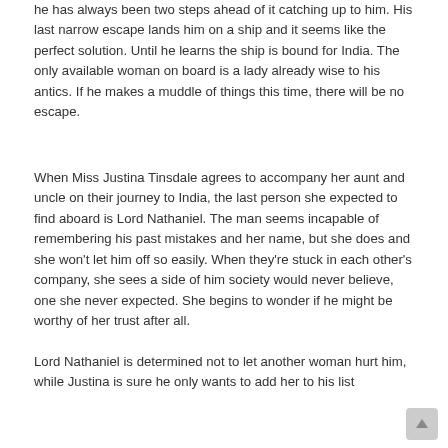he has always been two steps ahead of it catching up to him. His last narrow escape lands him on a ship and it seems like the perfect solution. Until he learns the ship is bound for India. The only available woman on board is a lady already wise to his antics. If he makes a muddle of things this time, there will be no escape.
When Miss Justina Tinsdale agrees to accompany her aunt and uncle on their journey to India, the last person she expected to find aboard is Lord Nathaniel. The man seems incapable of remembering his past mistakes and her name, but she does and she won't let him off so easily. When they're stuck in each other's company, she sees a side of him society would never believe, one she never expected. She begins to wonder if he might be worthy of her trust after all.
Lord Nathaniel is determined not to let another woman hurt him, while Justina is sure he only wants to add her to his list